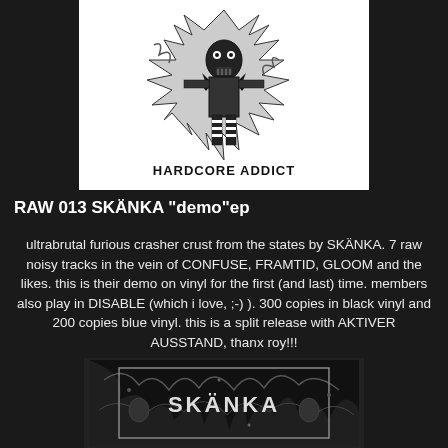[Figure (illustration): Black and white punk/hardcore artwork showing a skeletal or aggressive figure with spikes, labeled 'HARDCORE ADDICT' at the bottom]
RAW 013 SKÄNKA "demo"ep
ultrabrutal furious crasher crust from the states by SKÄNKA. 7 raw noisy tracks in the vein of CONFUSE, FRAMTID, GLOOM and the likes. this is their demo on vinyl for the first (and last) time. members also play in DISABLE (which i love, ;-) ). 300 copies in black vinyl and 200 copies blue vinyl. this is a split release with AKTIVER AUSSTAND, thanx roy!!!
[Figure (illustration): Black and white artwork showing band name SKÄNKA with dark imagery]